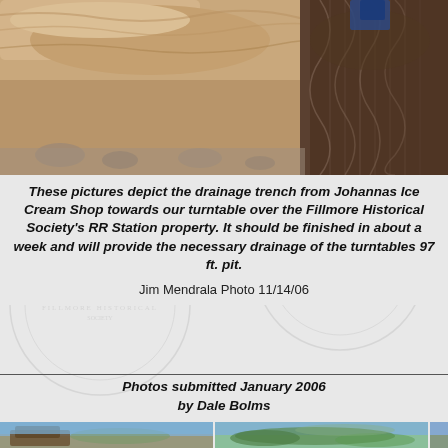[Figure (photo): Close-up photograph of a drainage trench excavation showing sandy/clay soil with rocky debris, taken from above looking down into the trench.]
These pictures depict the drainage trench from Johannas Ice Cream Shop towards our turntable over the Fillmore Historical Society's RR Station property. It should be finished in about a week and will provide the necessary drainage of the turntables 97 ft. pit.
Jim Mendrala Photo 11/14/06
Photos submitted January 2006 by Dale Bolms
[Figure (photo): Outdoor photograph showing a building or structure with mountains and blue sky in background.]
[Figure (photo): Outdoor photograph showing trees and hills with blue sky.]
[Figure (photo): Partial outdoor photograph.]